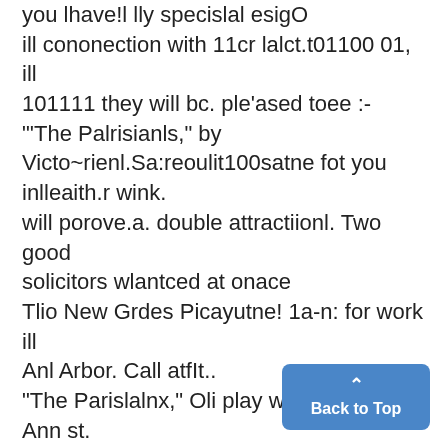you lhave!l lly specislal esigO ill cononection with 11cr lalct.t01100 01, ill 101111 they will bc. ple'ased toee :- "'The Palrisianls," by Victo~rienl.Sa:reoulit100satne fot you inlleaith.r wink. will porove.a. double attractiionl. Two good solicitors wlantced at onace Tlio New Grdes Picayutne! 1a-n: for work ill Anl Arbor. Call atfIt.. "The Parislalnx," Oli play whcrein she; Ann st. beitwveen 3 andll8 o'cloc'k this 01111100so0brillianltly, 10s11m adaptation n-ruing. .s:l'e tIIRE.